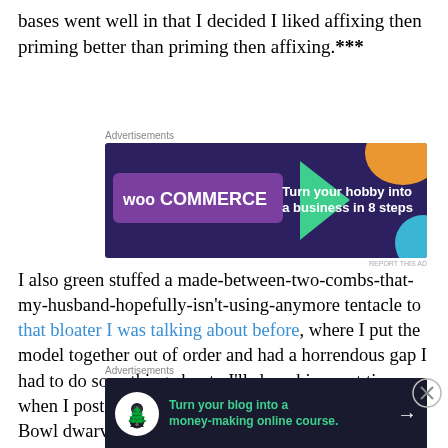bases went well in that I decided I liked affixing then priming better than priming then affixing.***
[Figure (other): WooCommerce advertisement banner: dark purple background with WooCommerce logo, teal arrow shape, orange blob, text 'Turn your hobby into a business in 8 steps']
I also green stuffed a made-between-two-combs-that-my-husband-hopefully-isn't-using-anymore tentacle to that bloater I was talking about before, where I put the model together out of order and had a horrendous gap I had to do something about.  I'll show him next time, when I post some pictures of my friend, Dave's, Blood Bowl dwarves he recently painted and was kind enough to let me play
[Figure (other): Advertisement banner: dark navy background with white circle icon (person with tree), green text 'Turn your blog into a money-making online course.' and white arrow]